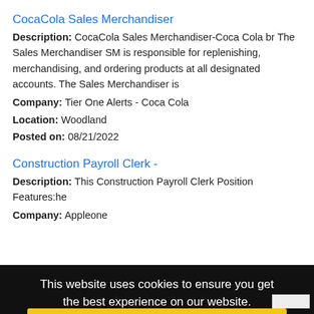CocaCola Sales Merchandiser
Description: CocaCola Sales Merchandiser-Coca Cola br The Sales Merchandiser SM is responsible for replenishing, merchandising, and ordering products at all designated accounts. The Sales Merchandiser is
Company: Tier One Alerts - Coca Cola
Location: Woodland
Posted on: 08/21/2022
Construction Payroll Clerk -
Description: This Construction Payroll Clerk Position Features:he
Company: Appleone
Location: West Sacramento
Posted on: 08/21/2022
Loading more jobs
This website uses cookies to ensure you get the best experience on our website. Learn more · An Account
Got it!
Username:
Password: